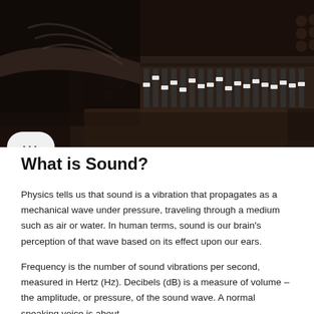[Figure (photo): A person operating a professional audio mixing console in a dark recording studio, viewed from behind, with faders and knobs visible.]
What is Sound?
Physics tells us that sound is a vibration that propagates as a mechanical wave under pressure, traveling through a medium such as air or water. In human terms, sound is our brain's perception of that wave based on its effect upon our ears.
Frequency is the number of sound vibrations per second, measured in Hertz (Hz). Decibels (dB) is a measure of volume – the amplitude, or pressure, of the sound wave. A normal speaking voice is about